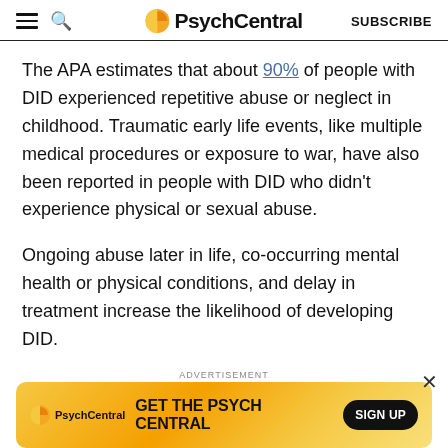PsychCentral | SUBSCRIBE
The APA estimates that about 90% of people with DID experienced repetitive abuse or neglect in childhood. Traumatic early life events, like multiple medical procedures or exposure to war, have also been reported in people with DID who didn't experience physical or sexual abuse.
Ongoing abuse later in life, co-occurring mental health or physical conditions, and delay in treatment increase the likelihood of developing DID.
Dissociation plays a role in protecting you against the
[Figure (other): PsychCentral advertisement banner with text GET THE PSYCH CENTRAL and SIGN UP button, yellow/orange background]
ADVERTISEMENT